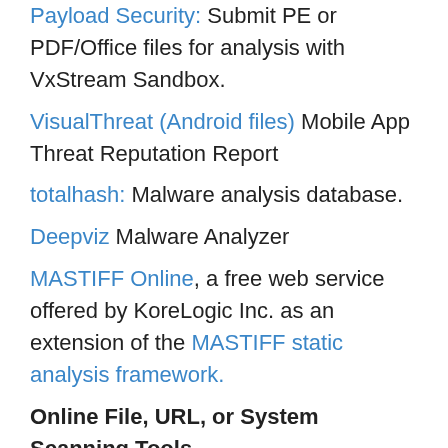Payload Security: Submit PE or PDF/Office files for analysis with VxStream Sandbox.
VisualThreat (Android files) Mobile App Threat Reputation Report
totalhash: Malware analysis database.
Deepviz Malware Analyzer
MASTIFF Online, a free web service offered by KoreLogic Inc. as an extension of the MASTIFF static analysis framework.
Online File, URL, or System Scanning Tools
VirusTotal analyzes files and URLs enabling the identification of malicious content detected by antivirus engines and website scanners. See below for hash searching as well.